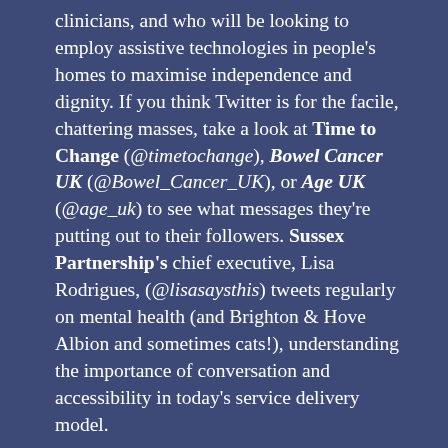clinicians, and who will be looking to employ assistive technologies in people's homes to maximise independence and dignity. If you think Twitter is for the facile, chattering masses, take a look at Time to Change (@timetochange), Bowel Cancer UK (@Bowel_Cancer_UK), or Age UK (@age_uk) to see what messages they're putting out to their followers. Sussex Partnership's chief executive, Lisa Rodrigues, (@lisasaysthis) tweets regularly on mental health (and Brighton & Hove Albion and sometimes cats!), understanding the importance of conversation and accessibility in today's service delivery model.
Connectivity will be essential to all of us in the future.
Keeping business in contact with customers and resources,